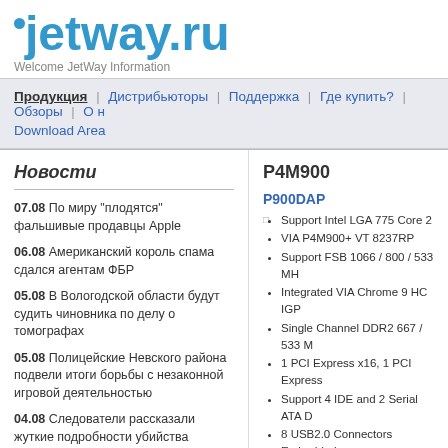jetway.ru — Welcome JetWay Information
Продукция | Дистрибьюторы | Поддержка | Где купить? | Обзоры | О н | Download Area
Новости
07.08 По миру "плодятся" фальшивые продавцы Apple
06.08 Американский король спама сдался агентам ФБР
05.08 В Вологодской области будут судить чиновника по делу о томографах
05.08 Полицейские Невского района подвели итоги борьбы с незаконной игровой деятельностью
04.08 Следователи рассказали жуткие подробности убийства тульской семьи
04.08 Прокурор Тульской области: Предполагаемый убийца тульской семьи - интеллигентный молодой человек
P4M900
P900DAP
Support Intel LGA 775 Core 2
VIA P4M900+ VT 8237RP
Support FSB 1066 / 800 / 533 MH
Integrated VIA Chrome 9 HC IGP
Single Channel DDR2 667 / 533 M
1 PCI Express x16, 1 PCI Express
Support 4 IDE and 2 Serial ATA D
8 USB2.0 Connectors Embedded
AC?97 8-Channel Audio Supported
VIA 10/100 LAN Supported
ATX Form Factor
P901DMP
[Figure (photo): Motherboard photo thumbnail]